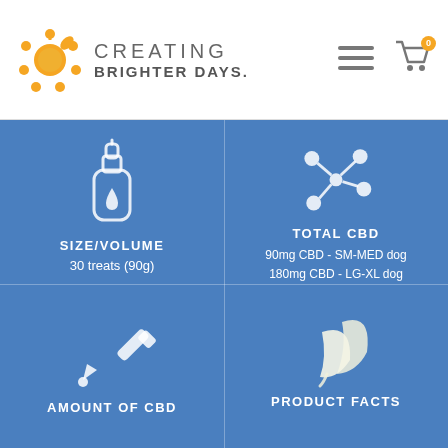[Figure (logo): Creating Brighter Days logo with orange sun/paw print icon and company name text]
[Figure (other): Hamburger menu icon (three horizontal lines)]
[Figure (other): Shopping cart icon with orange badge showing 0]
[Figure (infographic): Blue section with four product info cells: SIZE/VOLUME (dropper bottle icon, 30 treats 90g), TOTAL CBD (molecule icon, 90mg CBD - SM-MED dog / 180mg CBD - LG-XL dog), AMOUNT OF CBD (dropper/pipette icon), PRODUCT FACTS (leaf icon)]